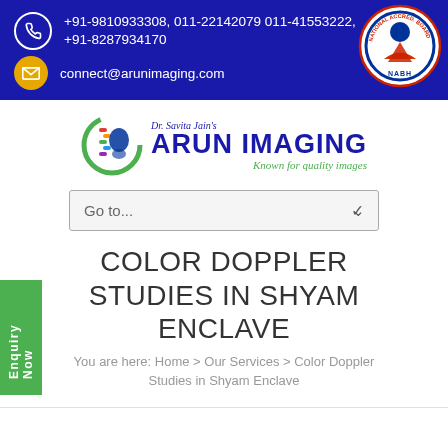+91-9810933308, 011-22142079 011-41553222, +91-8287934170
connect@arunimaging.com
[Figure (logo): Dr. Savita Jain's Arun Imaging logo with tagline 'Known for quality images' and NABH accreditation badge]
Go to...
COLOR DOPPLER STUDIES IN SHYAM ENCLAVE
You are here: Home > Our Services > Color Doppler Studies in Shyam Enclave